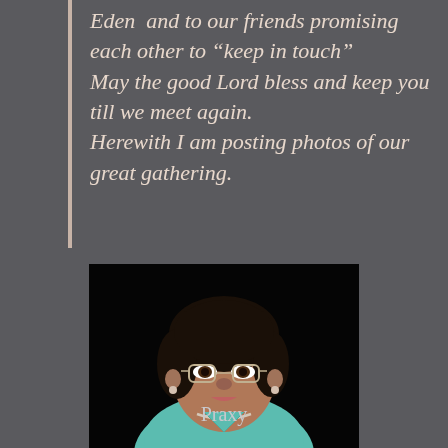Eden  and to our friends promising each other to “keep in touch” May the good Lord bless and keep you till we meet again. Herewith I am posting photos of our great gathering.
[Figure (photo): Portrait photo of a woman wearing glasses and a light blue top with a pearl necklace, against a dark/black background.]
Praxy